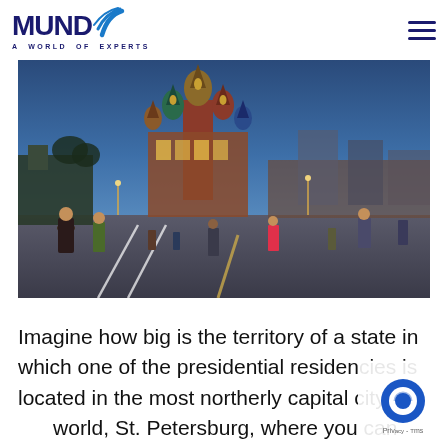MUNDO - A WORLD OF EXPERTS
[Figure (photo): Nighttime photo of Red Square in Moscow, Russia, showing St. Basil's Cathedral illuminated in the background with tourists walking across the cobblestone plaza in the foreground.]
Imagine how big is the territory of a state in which one of the presidential residencies is located in the most northerly capital city in the world, St. Petersburg, where you can actually see the aurora borealis in the polar night, and